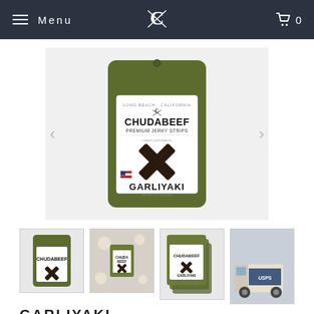Menu | [Logo] | Cart 0
[Figure (photo): ChudaBeef Garliyaki Premium Jerky Strips product bag in olive green with X logo and beef jerky strips visible]
[Figure (photo): Thumbnail 1: ChudaBeef Garliyaki single bag front view]
[Figure (photo): Thumbnail 2: ChudaBeef bag on decorative background with spices]
[Figure (photo): Thumbnail 3: Multiple ChudaBeef bags stacked]
[Figure (photo): Thumbnail 4: USPS delivery truck / shipping photo]
GARLIYAKI
★★★★½ 143 reviews